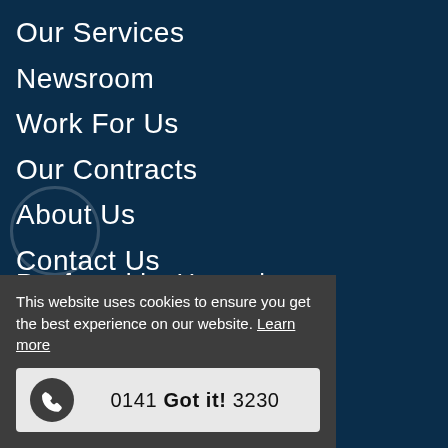Our Services
Newsroom
Work For Us
Our Contracts
About Us
Contact Us
Renfrewshire House | Cotton Street | Paisley | PA1 1AR
This website uses cookies to ensure you get the best experience on our website. Learn more
0141 Got it! 3230